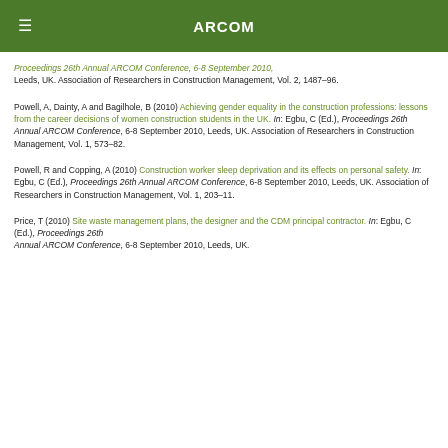ARCOM
Proceedings 26th Annual ARCOM Conference, 6-8 September 2010, Leeds, UK. Association of Researchers in Construction Management, Vol. 2, 1487–96.
Powell, A, Dainty, A and Bagilhole, B (2010) Achieving gender equality in the construction professions: lessons from the career decisions of women construction students in the UK. In: Egbu, C (Ed.), Proceedings 26th Annual ARCOM Conference, 6-8 September 2010, Leeds, UK. Association of Researchers in Construction Management, Vol. 1, 573–82.
Powell, R and Copping, A (2010) Construction worker sleep deprivation and its effects on personal safety. In: Egbu, C (Ed.), Proceedings 26th Annual ARCOM Conference, 6-8 September 2010, Leeds, UK. Association of Researchers in Construction Management, Vol. 1, 203–11.
Price, T (2010) Site waste management plans, the designer and the CDM principal contractor. In: Egbu, C (Ed.), Proceedings 26th Annual ARCOM Conference, 6-8 September 2010, Leeds, UK.